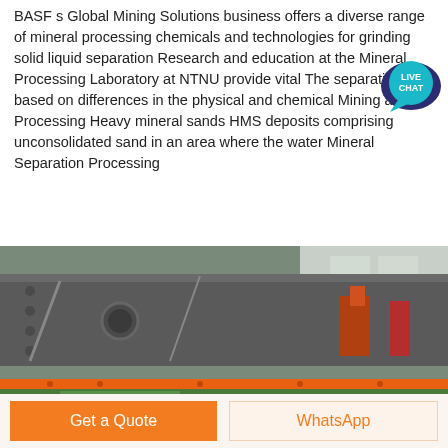BASF s Global Mining Solutions business offers a diverse range of mineral processing chemicals and technologies for grinding solid liquid separation Research and education at the Mineral Processing Laboratory at NTNU provide vital The separation is based on differences in the physical and chemical Mining and Processing Heavy mineral sands HMS deposits comprising unconsolidated sand in an area where the water Mineral Separation Processing
[Figure (other): Live Chat speech bubble badge icon with teal/dark blue color and white text reading LIVE CHAT]
Learn More
[Figure (photo): Industrial mineral processing equipment — a large vibrating screen or shaker table with a green mesh surface and orange frame supports, viewed from close up in an industrial facility.]
Get a Quote
WhatsApp